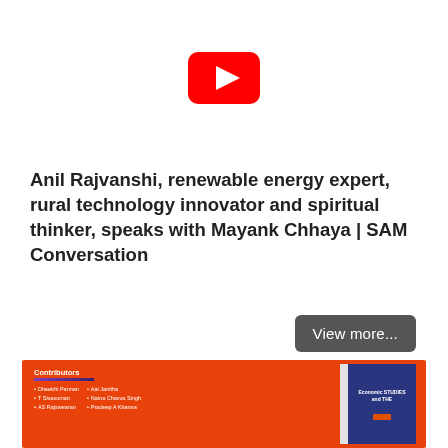[Figure (logo): YouTube logo icon — red rounded rectangle with white play triangle]
Anil Rajvanshi, renewable energy expert, rural technology innovator and spiritual thinker, speaks with Mayank Chhaya | SAM Conversation
View more...
[Figure (photo): Partial view of a book cover on an orange/red background with contributors list on left side and blue book cover on right side]